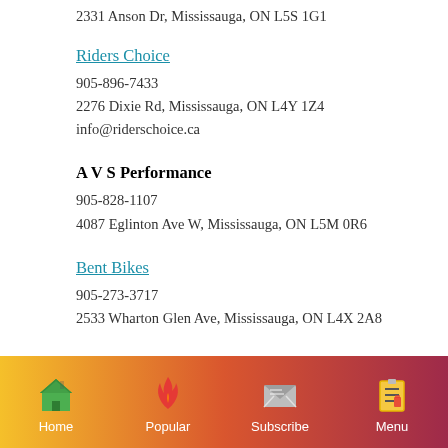2331 Anson Dr, Mississauga, ON L5S 1G1
Riders Choice
905-896-7433
2276 Dixie Rd, Mississauga, ON L4Y 1Z4
info@riderschoice.ca
A V S Performance
905-828-1107
4087 Eglinton Ave W, Mississauga, ON L5M 0R6
Bent Bikes
905-273-3717
2533 Wharton Glen Ave, Mississauga, ON L4X 2A8
Home | Popular | Subscribe | Menu